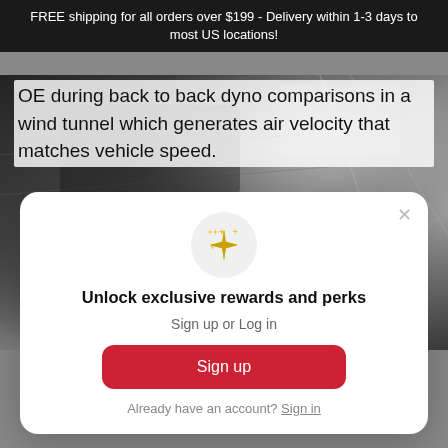FREE shipping for all orders over $199 - Delivery within 1-3 days to most US locations!
OE during back to back dyno comparisons in a wind tunnel which generates air velocity that matches vehicle speed.
[Figure (photo): Dark close-up photo of automotive parts, showing metallic surfaces in black and grey tones.]
Unlock exclusive rewards and perks
Sign up or Log in
Sign up
Already have an account? Sign in